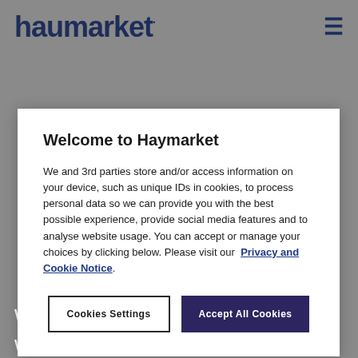haumarket
Welcome to Haymarket
We and 3rd parties store and/or access information on your device, such as unique IDs in cookies, to process personal data so we can provide you with the best possible experience, provide social media features and to analyse website usage. You can accept or manage your choices by clicking below. Please visit our Privacy and Cookie Notice.
Cookies Settings
Accept All Cookies
while our glasses were raised, we also toasted the fact that three McKnight's brands earned a total of 16 Hermes Creative Awards for editorial and design